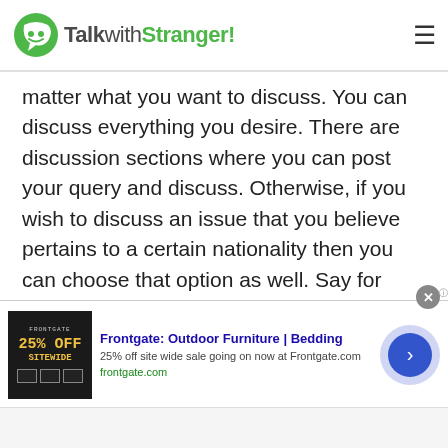TalkwithStranger!
matter what you want to discuss. You can discuss everything you desire. There are discussion sections where you can post your query and discuss. Otherwise, if you wish to discuss an issue that you believe pertains to a certain nationality then you can choose that option as well. Say for instance you want to discuss the eradication of child labor with Cameroonian people. Then you can chat with people of Cameroon in this regard. You can also video chat with random people of Cameroon to better understand the concept of child labor. The video calling facility will enable you to look around the
[Figure (screenshot): Advertisement banner for Frontgate: Outdoor Furniture and Bedding, showing 25% off sitewide sale at frontgate.com]